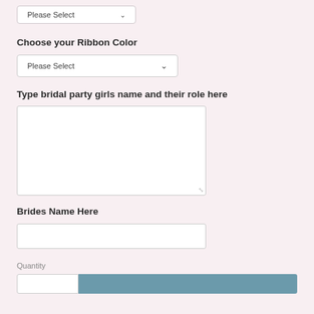[Figure (screenshot): Partial dropdown at top of page showing 'Please Select' with chevron arrow, white background with border]
Choose your Ribbon Color
[Figure (screenshot): Dropdown selector showing 'Please Select' with chevron arrow, white background with border]
Type bridal party girls name and their role here
[Figure (screenshot): Large multi-line text area input box, white background with border and resize handle]
Brides Name Here
[Figure (screenshot): Single-line text input box, white background with border]
Quantity
[Figure (screenshot): Quantity input field (white) next to a teal/steel blue Add to Cart button, partially visible at bottom]